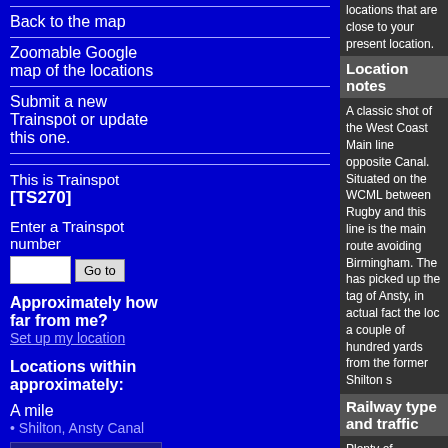locations that are close to your present location.
Back to the map
Zoomable Google map of the locations
Submit a new Trainspot or update this one.
This is Trainspot [TS270]
Enter a Trainspot number
Approximately how far from me? Set up my location
Locations within approximately:
A mile
Shilton, Ansty Canal
Location notes
A classic shot of the West Coast Main line opposite Canal. Situated on the WCML between Rugby and this line is the main route avoiding Birmingham. The has picked up the tag of Ansty, in actual fact the loc a couple of hundred yards from the former Shilton s
Railway type and traffic
Plenty of Pendolinos and Voyagers also the as requ Trains MkIII hauled service.
A fair amount of diesel and electric freight from DB Freightliner, DRS, GBRf and also Colas.
Environment
Very open and exposed to the elements, there is ne shelter at the location and it is a reasonalble walk b car.
Road directions
From the M6, junction 2: Take the B4065 north, signposted Shilton and Anst the road along. After about 1 mile there is a turning sign posted as the Ansty Golf Club, this is the B402 road and then park at one of the parking options.